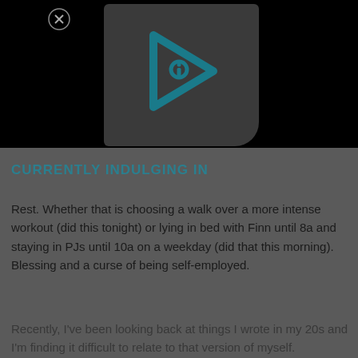[Figure (screenshot): Black video player area with a dark grey rounded thumbnail showing a teal/dark cyan play button icon (triangle with 'i' inside). A close (X) button is visible in the top left of the video area.]
CURRENTLY INDULGING IN
Rest. Whether that is choosing a walk over a more intense workout (did this tonight) or lying in bed with Finn until 8a and staying in PJs until 10a on a weekday (did that this morning). Blessing and a curse of being self-employed.
Recently, I've been looking back at things I wrote in my 20s and I'm finding it difficult to relate to that version of myself.